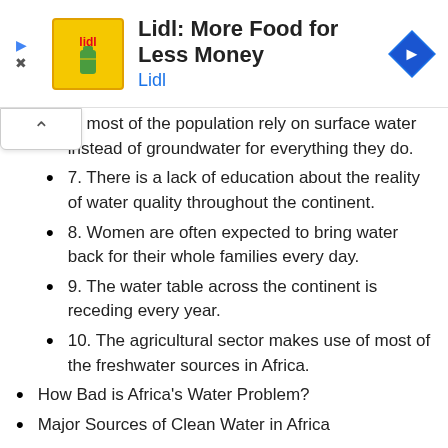[Figure (other): Lidl advertisement banner showing Lidl logo with yellow background, headline 'Lidl: More Food for Less Money', brand name 'Lidl' in blue, and a blue navigation arrow icon on the right]
6. Most of the population rely on surface water instead of groundwater for everything they do.
7. There is a lack of education about the reality of water quality throughout the continent.
8. Women are often expected to bring water back for their whole families every day.
9. The water table across the continent is receding every year.
10. The agricultural sector makes use of most of the freshwater sources in Africa.
How Bad is Africa's Water Problem?
Major Sources of Clean Water in Africa
Areas Most Affected by a Lack of Clean Water
How is the Problem Being Addressed?